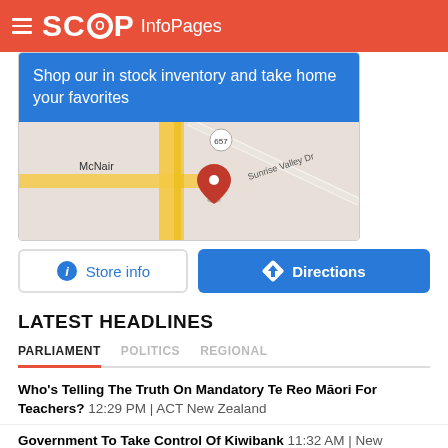SCOOP InfoPages
[Figure (screenshot): Advertisement block with blue background text 'Shop our in stock inventory and take home your favorites' and a Google Maps screenshot showing McNair area with a location pin near route 657 and Sunrise Valley Dr]
Store info    Directions
LATEST HEADLINES
PARLIAMENT   POLITICS   REGIONAL
Who's Telling The Truth On Mandatory Te Reo Māori For Teachers? 12:29 PM | ACT New Zealand
Government To Take Control Of Kiwibank 11:32 AM | New Zealand Government
Kiwibank To Remain Fully Kiwi Owned 11:29 AM | New Zealand